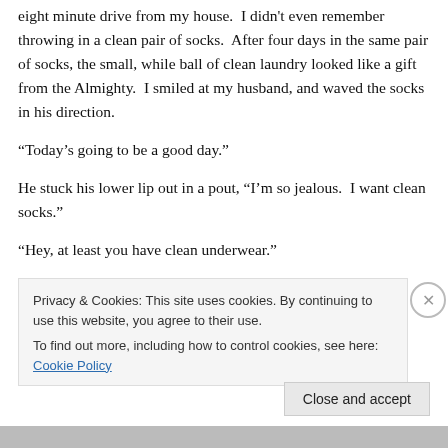eight minute drive from my house.  I didn't even remember throwing in a clean pair of socks.  After four days in the same pair of socks, the small, while ball of clean laundry looked like a gift from the Almighty.  I smiled at my husband, and waved the socks in his direction.
“Today’s going to be a good day.”
He stuck his lower lip out in a pout, “I’m so jealous.  I want clean socks.”
“Hey, at least you have clean underwear.”
Privacy & Cookies: This site uses cookies. By continuing to use this website, you agree to their use.
To find out more, including how to control cookies, see here: Cookie Policy